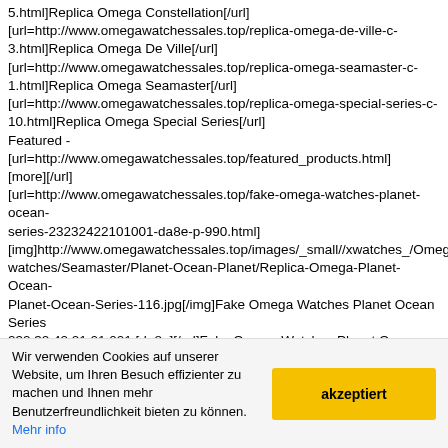5.html]Replica Omega Constellation[/url] [url=http://www.omegawatchessales.top/replica-omega-de-ville-c-3.html]Replica Omega De Ville[/url] [url=http://www.omegawatchessales.top/replica-omega-seamaster-c-1.html]Replica Omega Seamaster[/url] [url=http://www.omegawatchessales.top/replica-omega-special-series-c-10.html]Replica Omega Special Series[/url] Featured - [url=http://www.omegawatchessales.top/featured_products.html][more][/url] [url=http://www.omegawatchessales.top/fake-omega-watches-planet-ocean-series-23232422101001-da8e-p-990.html] [img]http://www.omegawatchessales.top/images/_small//xwatches_/Omega-watches/Seamaster/Planet-Ocean-Planet/Replica-Omega-Planet-Ocean-Planet-Ocean-Series-116.jpg[/img]Fake Omega Watches Planet Ocean Series 232.32.42.21.01.001 [da8e][/url]Fake Omega Watches Planet Ocean Series 232.32.42.21.01.001 [da8e]$10,457.00 $209.00Save: 98% off[url=http://www.omegawatchessales.top/fake-omega-watches-brushed-quartz-series-12355276055016-watch-series-e55f-p-949.html] [img]http://www.omegawatchessales.top/images/_small//xwatches_/Omega-watches/Constellation/Frosted-quartz/Replica-Omega-frosted-quartz-watch-Brushed-Quartz-362.jpg[/img]Fake Omega Watches Brushed Quartz Series
Wir verwenden Cookies auf unserer Website, um Ihren Besuch effizienter zu machen und Ihnen mehr Benutzerfreundlichkeit bieten zu können. Mehr info
akzeptiert